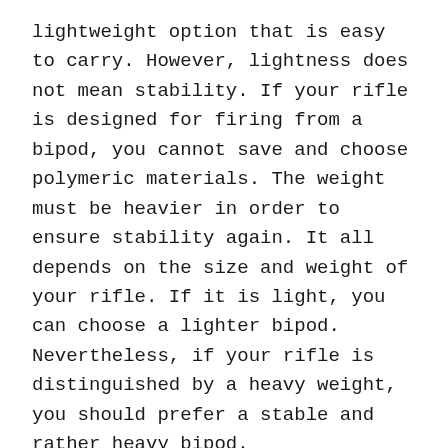lightweight option that is easy to carry. However, lightness does not mean stability. If your rifle is designed for firing from a bipod, you cannot save and choose polymeric materials. The weight must be heavier in order to ensure stability again. It all depends on the size and weight of your rifle. If it is light, you can choose a lighter bipod. Nevertheless, if your rifle is distinguished by a heavy weight, you should prefer a stable and rather heavy bipod.
Attachment Device
The fastening of the weapon to the bipod is very important too. Prefer attachments with belts, swivels or adapters. Do not buy devices that are attached directly to the body of the rifle. This is